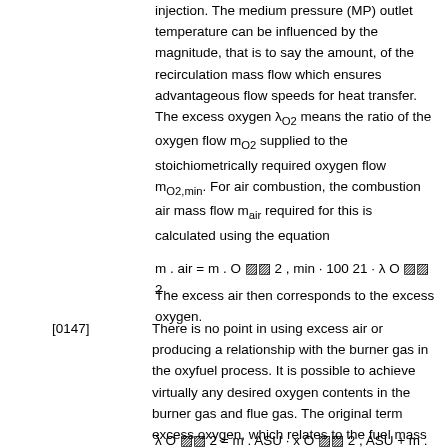injection. The medium pressure (MP) outlet temperature can be influenced by the magnitude, that is to say the amount, of the recirculation mass flow which ensures advantageous flow speeds for heat transfer. The excess oxygen λO2 means the ratio of the oxygen flow mO2 supplied to the stoichiometrically required oxygen flow mO2,min. For air combustion, the combustion air mass flow mair required for this is calculated using the equation
The excess air then corresponds to the excess oxygen.
[0147] There is no point in using excess air or producing a relationship with the burner gas in the oxyfuel process. It is possible to achieve virtually any desired oxygen contents in the burner gas and flue gas. The original term excess oxygen, which relates to the fuel mass flow, is therefore reverted to. This is calculated in the case of oxyfuel combustion using